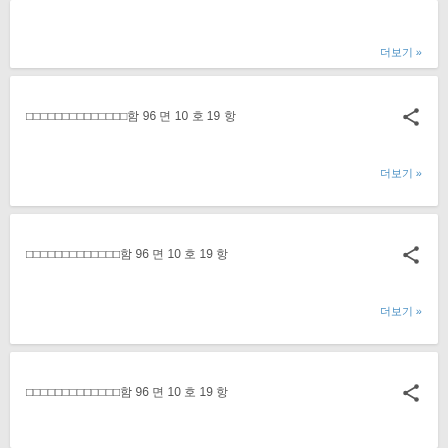더보기 »
□□□□□□□□□□□□□□함 96 면 10 호 19 항
더보기 »
□□□□□□□□□□□□□함 96 면 10 호 19 항
더보기 »
□□□□□□□□□□□□□함 96 면 10 호 19 항